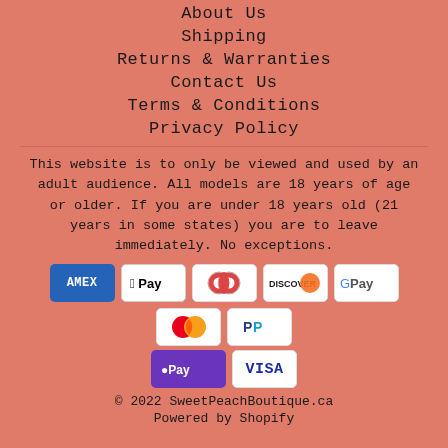About Us
Shipping
Returns & Warranties
Contact Us
Terms & Conditions
Privacy Policy
This website is to only be viewed and used by an adult audience. All models are 18 years of age or older. If you are under 18 years old (21 years in some states) you are to leave immediately. No exceptions.
[Figure (logo): Payment method icons: American Express, Apple Pay, Diners Club, Discover, Google Pay, Mastercard, PayPal, Shop Pay, Visa]
© 2022 SweetPeachBoutique.ca
Powered by Shopify